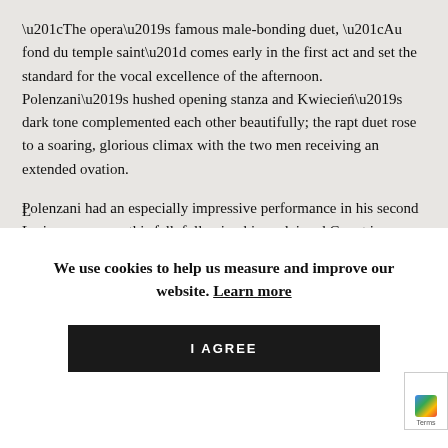“The opera’s famous male-bonding duet, “Au fond du temple saint” comes early in the first act and set the standard for the vocal excellence of the afternoon. Polenzani’s hushed opening stanza and Kwiecień’s dark tone complemented each other beautifully; the rapt duet rose to a soaring, glorious climax with the two men receiving an extended ovation.
Polenzani had an especially impressive performance in his second Lyric appearance this fall, following his acclaimed Count in Rigoletto last month. The Illinois-born tenor rendered Nadir’s “Je crois entendre encore” as a dream-like soliloquy, the top final notes floated with feather-soft t... t... t...
We use cookies to help us measure and improve our website. Learn more
I AGREE